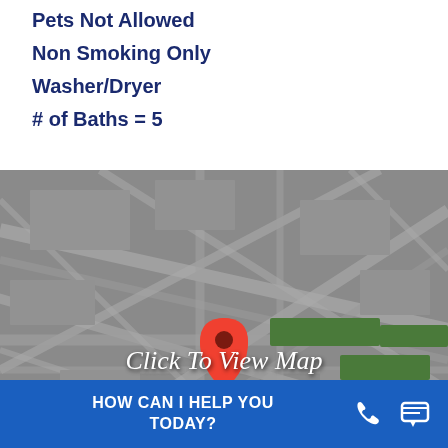Pets Not Allowed
Non Smoking Only
Washer/Dryer
# of Baths = 5
[Figure (map): Street map with red location pin and 'Click To View Map' overlay text, with a blue 'HOW CAN I HELP YOU TODAY?' chat bar at the bottom]